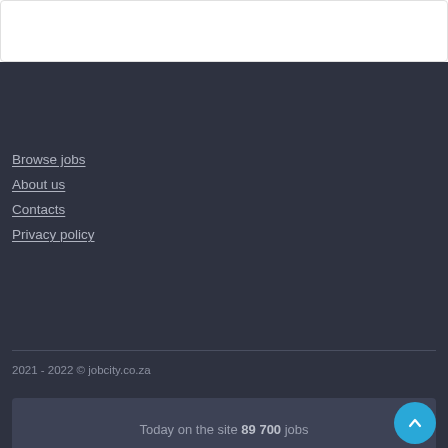Browse jobs
About us
Contacts
Privacy policy
2021 - 2022 © jobcity.co.za
Today on the site 89 700 jobs